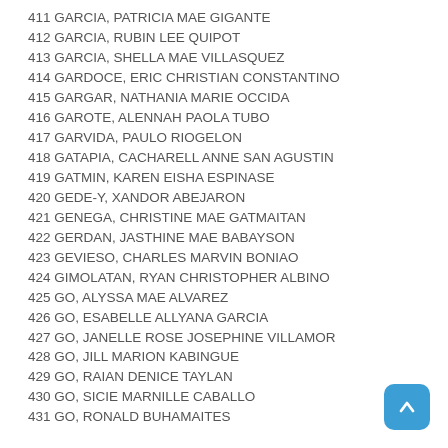411 GARCIA, PATRICIA MAE GIGANTE
412 GARCIA, RUBIN LEE QUIPOT
413 GARCIA, SHELLA MAE VILLASQUEZ
414 GARDOCE, ERIC CHRISTIAN CONSTANTINO
415 GARGAR, NATHANIA MARIE OCCIDA
416 GAROTE, ALENNAH PAOLA TUBO
417 GARVIDA, PAULO RIOGELON
418 GATAPIA, CACHARELL ANNE SAN AGUSTIN
419 GATMIN, KAREN EISHA ESPINASE
420 GEDE-Y, XANDOR ABEJARON
421 GENEGA, CHRISTINE MAE GATMAITAN
422 GERDAN, JASTHINE MAE BABAYSON
423 GEVIESO, CHARLES MARVIN BONIAO
424 GIMOLATAN, RYAN CHRISTOPHER ALBINO
425 GO, ALYSSA MAE ALVAREZ
426 GO, ESABELLE ALLYANA GARCIA
427 GO, JANELLE ROSE JOSEPHINE VILLAMOR
428 GO, JILL MARION KABINGUE
429 GO, RAIAN DENICE TAYLAN
430 GO, SICIE MARNILLE CABALLO
431 GO, RONALD BUHAMAITES